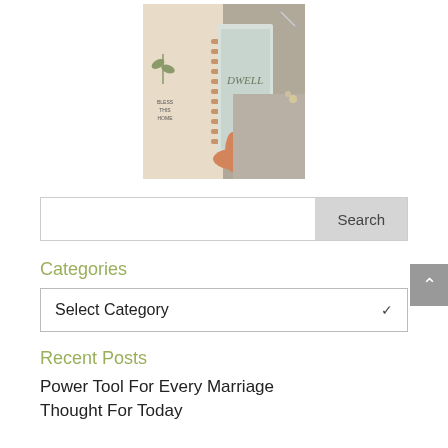[Figure (photo): Flatlay photo of a spiral notebook with 'Bless This Home' text and a book titled 'DWELL', with a hand holding the book, placed on a gray surface with scissors and dried flowers]
Search
Categories
Select Category
Recent Posts
Power Tool For Every Marriage
Thought For Today